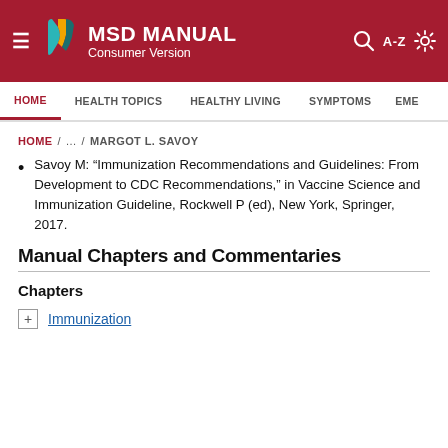MSD MANUAL Consumer Version
HOME / ... / MARGOT L. SAVOY
Savoy M: “Immunization Recommendations and Guidelines: From Development to CDC Recommendations,” in Vaccine Science and Immunization Guideline, Rockwell P (ed), New York, Springer, 2017.
Manual Chapters and Commentaries
Chapters
Immunization